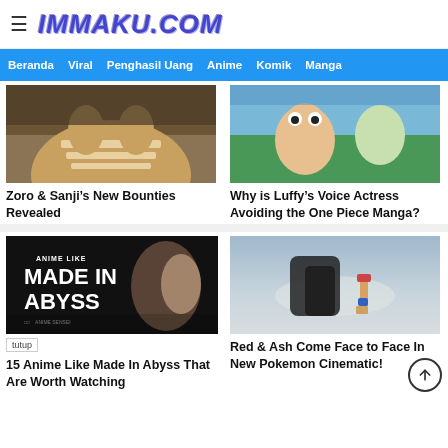IMMAKU.COM
Beranda  Viral  Penghasil Uang  Anime  Komik  Manga
[Figure (photo): Anime character close-up face (Zoro/Sanji style)]
Zoro & Sanji’s New Bounties Revealed
[Figure (photo): Luffy and other One Piece characters scene]
Why is Luffy’s Voice Actress Avoiding the One Piece Manga?
[Figure (photo): Anime Like Made In Abyss promotional image with anime characters]
tutup
15 Anime Like Made In Abyss That Are Worth Watching
[Figure (photo): Red and Ash face to face in Pokemon cinematic scene]
Red & Ash Come Face to Face In New Pokemon Cinematic!